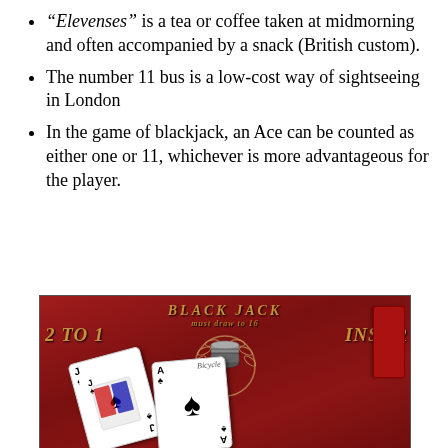“Elevenses” is a tea or coffee taken at midmorning and often accompanied by a snack (British custom).
The number 11 bus is a low-cost way of sightseeing in London
In the game of blackjack, an Ace can be counted as either one or 11, whichever is more advantageous for the player.
[Figure (photo): A blackjack table with red felt showing 'BLACK JACK' text and '2 TO 1 INSUR' text, casino chips stacked in center with laurel wreath decoration, and two playing cards (Jack of Spades and Ace of Spades) laid on the table.]